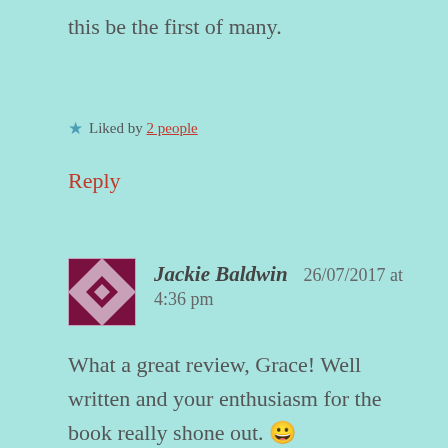this be the first of many.
★ Liked by 2 people
Reply
Jackie Baldwin   26/07/2017 at 4:36 pm
What a great review, Grace! Well written and your enthusiasm for the book really shone out. 😀